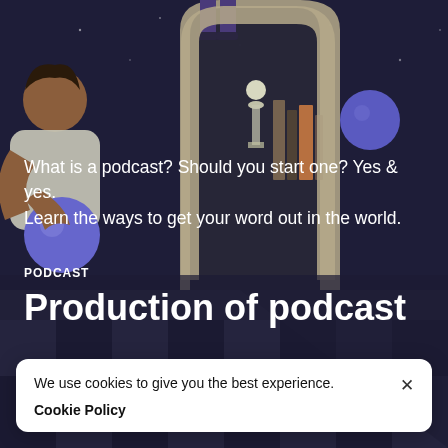[Figure (illustration): Dark blue night-sky illustration with figures, geometric chess-like board pattern, planets/spheres, and bookshelves. A person holds a glowing blue sphere on the left side.]
What is a podcast? Should you start one? Yes & yes. Learn the ways to get your word out in the world.
PODCAST
Production of podcast
We use cookies to give you the best experience. Cookie Policy